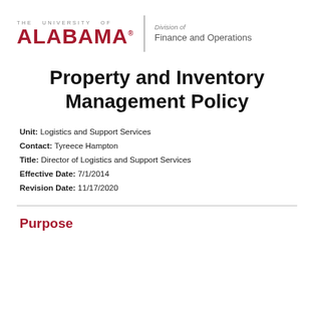[Figure (logo): The University of Alabama logo with 'THE UNIVERSITY OF' text above 'ALABAMA' in crimson, registered trademark symbol, vertical divider, and 'Division of Finance and Operations' text to the right]
Property and Inventory Management Policy
Unit: Logistics and Support Services
Contact: Tyreece Hampton
Title: Director of Logistics and Support Services
Effective Date: 7/1/2014
Revision Date: 11/17/2020
Purpose